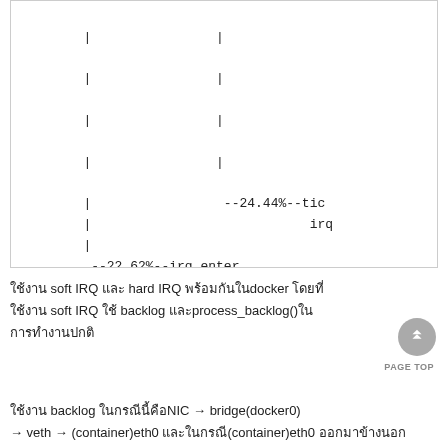[Figure (other): Code/flamegraph text diagram showing call stack with percentages: --24.44%--tick and irq entries, --22.62%--irq_enter, tick_irq_enter]
ใช้งาน soft IRQ และ hard IRQ พร้อมกันในdocker โดยที่ soft IRQ ใช้ backlog และprocess_backlog()ใน การทำงานปกติ
การทำงานของ backlog ในกรณีนี้คือNIC → bridge(docker0) → veth → (container)eth0 และในกรณี(container)eth0 ออกมาข้างนอก back...